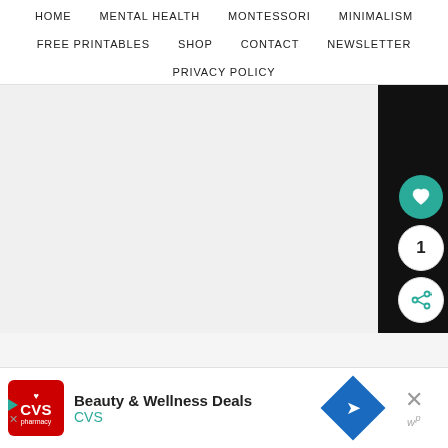HOME  MENTAL HEALTH  MONTESSORI  MINIMALISM  FREE PRINTABLES  SHOP  CONTACT  NEWSLETTER  PRIVACY POLICY
[Figure (screenshot): Website navigation menu with items: HOME, MENTAL HEALTH, MONTESSORI, MINIMALISM, FREE PRINTABLES, SHOP, CONTACT, NEWSLETTER, PRIVACY POLICY. Below is a content area partially obscured by a black bar on the right. Sidebar buttons include a teal heart icon, a count button showing 1, and a share button.]
Beauty & Wellness Deals  CVS